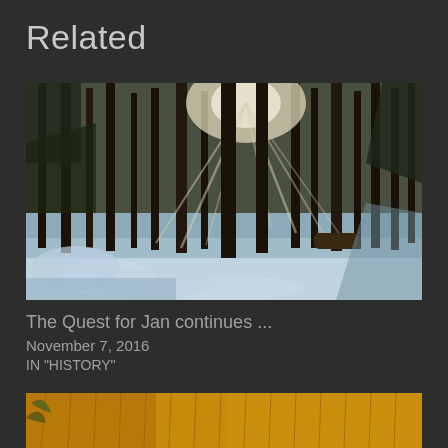Related
[Figure (photo): Winter forest scene with tall pine trees, snow on ground, and sunlight rays filtering through the trees]
The Quest for Jan continues ...
November 7, 2016
IN "HISTORY"
[Figure (photo): Golden wheat or grain field with warm yellow/orange tones, partially visible at bottom of page]